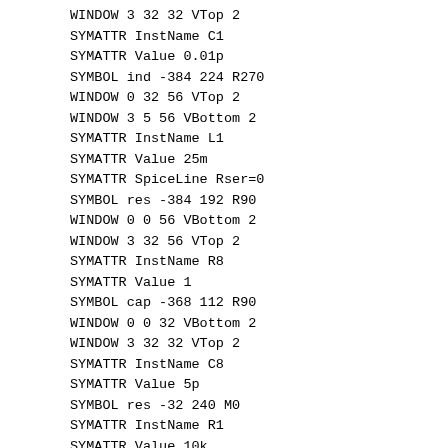WINDOW 3 32 32 VTop 2
SYMATTR InstName C1
SYMATTR Value 0.01p
SYMBOL ind -384 224 R270
WINDOW 0 32 56 VTop 2
WINDOW 3 5 56 VBottom 2
SYMATTR InstName L1
SYMATTR Value 25m
SYMATTR SpiceLine Rser=0
SYMBOL res -384 192 R90
WINDOW 0 0 56 VBottom 2
WINDOW 3 32 56 VTop 2
SYMATTR InstName R8
SYMATTR Value 1
SYMBOL cap -368 112 R90
WINDOW 0 0 32 VBottom 2
WINDOW 3 32 32 VTop 2
SYMATTR InstName C8
SYMATTR Value 5p
SYMBOL res -32 240 M0
SYMATTR InstName R1
SYMATTR Value 10k
TEXT -264 -56 Left 2 !.tran 0 50m 0 10n
TEXT -264 -88 Left 2 ;'10MHz  Xtal Osc